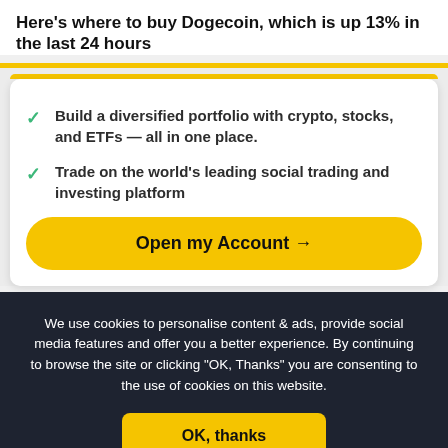Here's where to buy Dogecoin, which is up 13% in the last 24 hours
Build a diversified portfolio with crypto, stocks, and ETFs — all in one place.
Trade on the world's leading social trading and investing platform
Open my Account →
We use cookies to personalise content & ads, provide social media features and offer you a better experience. By continuing to browse the site or clicking "OK, Thanks" you are consenting to the use of cookies on this website.
OK, thanks